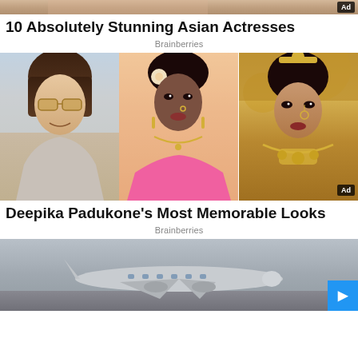[Figure (photo): Top cropped photo strip showing partial figure, with Ad badge in top right]
10 Absolutely Stunning Asian Actresses
Brainberries
[Figure (photo): Three side-by-side photos of Deepika Padukone in different looks: casual with sunglasses, bridal pink saree with jewelry, and traditional bridal gold jewelry look. Ad badge bottom right.]
Deepika Padukone's Most Memorable Looks
Brainberries
[Figure (photo): Bottom cropped photo showing aircraft/plane on tarmac in grey tones, with blue button in bottom right corner]